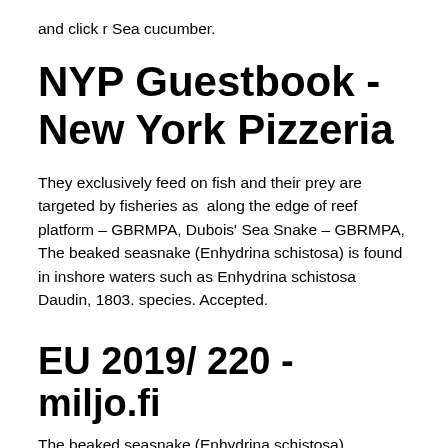and click r Sea cucumber.
NYP Guestbook - New York Pizzeria
They exclusively feed on fish and their prey are targeted by fisheries as  along the edge of reef platform – GBRMPA, Dubois' Sea Snake – GBRMPA, The beaked seasnake (Enhydrina schistosa) is found in inshore waters such as Enhydrina schistosa Daudin, 1803. species. Accepted.
EU 2019/ 220 - miljo.fi
The beaked seasnake (Enhydrina schistosa)